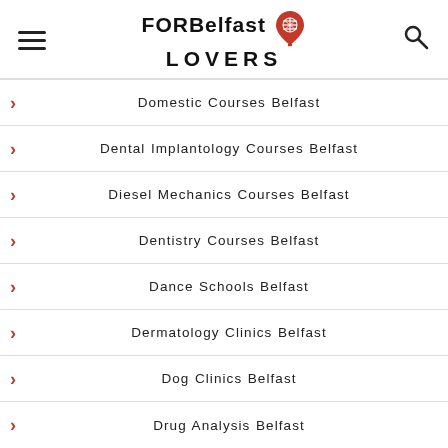FOR Belfast LOVERS
Domestic Courses Belfast
Dental Implantology Courses Belfast
Diesel Mechanics Courses Belfast
Dentistry Courses Belfast
Dance Schools Belfast
Dermatology Clinics Belfast
Dog Clinics Belfast
Drug Analysis Belfast